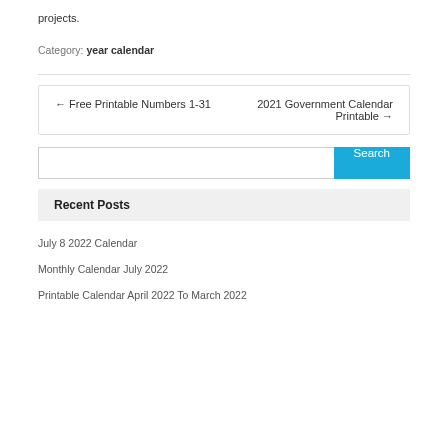projects.
Category: year calendar
← Free Printable Numbers 1-31    2021 Government Calendar Printable →
[Figure (other): Search input box with Search button]
Recent Posts
July 8 2022 Calendar
Monthly Calendar July 2022
Printable Calendar April 2022 To March 2022